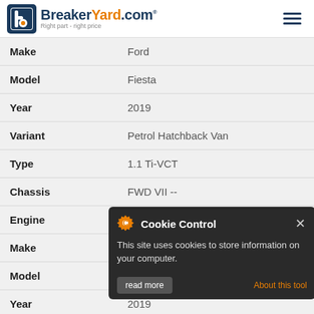BreakerYard.com — Right part - right price
| Label | Value |
| --- | --- |
| Make | Ford |
| Model | Fiesta |
| Year | 2019 |
| Variant | Petrol Hatchback Van |
| Type | 1.1 Ti-VCT |
| Chassis | FWD VII -- |
| Engine | 1084cc 55KW 75HP FSJB |
| Make | Ford |
| Model | Fiesta |
| Year | 2019 |
[Figure (screenshot): Cookie Control popup dialog with text: 'This site uses cookies to store information on your computer.' with 'About this tool' link and 'read more' button.]